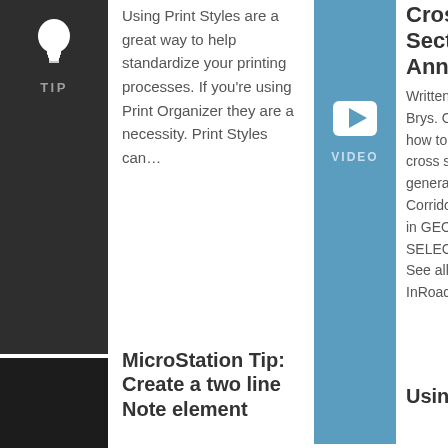[Figure (illustration): Light bulb icon (white) on dark background with TIP label beneath]
Using Print Styles are a great way to help standardize your printing processes. If you're using Print Organizer they are a necessity. Print Styles can…
[Figure (illustration): Blue video play button icon with VIDEO label on blue background]
Cross Section Annotation
Written by Ronald Brys. Overview on how to annotate cross sections generated using Corridor Modeler in GEOPAK SELECTseries 2.  See all of our InRoads…
MicroStation Tip: Create a two line Note element
Using Point